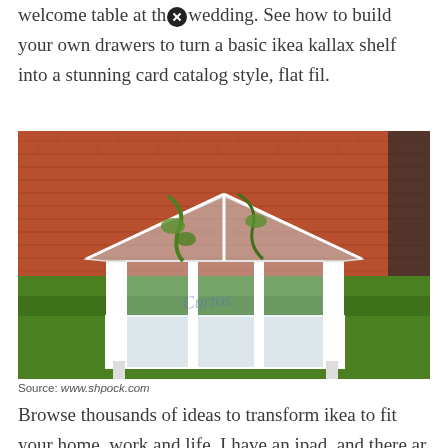welcome table at the wedding. See how to build your own drawers to turn a basic ikea kallax shelf into a stunning card catalog style, flat fil.
[Figure (photo): A white wooden greenhouse/cold frame structure with transparent glass or acrylic panels and a peaked roof, sitting on green grass in front of a red brick wall. Green plants (ivy or hops) are draped over the structure. A cursive watermark text is visible on the glass panel.]
Source: www.shpock.com
Browse thousands of ideas to transform ikea to fit your home, work and life. I have an ipad, and there are plenty of apps out